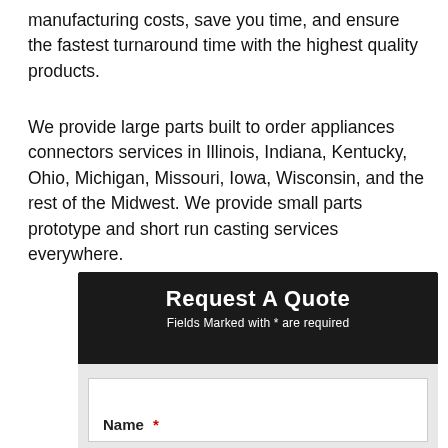manufacturing costs, save you time, and ensure the fastest turnaround time with the highest quality products.
We provide large parts built to order appliances connectors services in Illinois, Indiana, Kentucky, Ohio, Michigan, Missouri, Iowa, Wisconsin, and the rest of the Midwest. We provide small parts prototype and short run casting services everywhere.
Request A Quote
Fields Marked with * are required
Name *